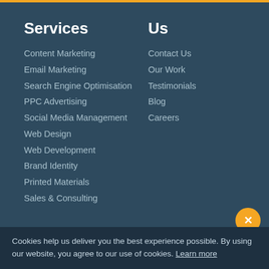Services
Content Marketing
Email Marketing
Search Engine Optimisation
PPC Advertising
Social Media Management
Web Design
Web Development
Brand Identity
Printed Materials
Sales & Consulting
Us
Contact Us
Our Work
Testimonials
Blog
Careers
Contact
Social
Cookies help us deliver you the best experience possible. By using our website, you agree to our use of cookies. Learn more